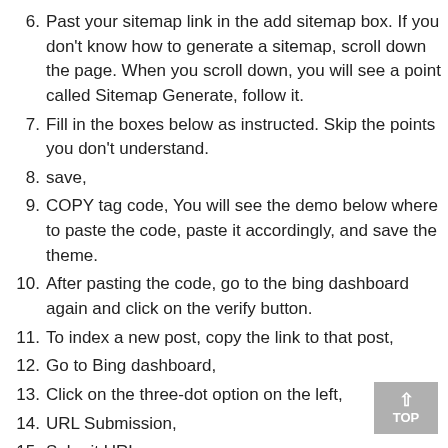6. Past your sitemap link in the add sitemap box. If you don't know how to generate a sitemap, scroll down the page. When you scroll down, you will see a point called Sitemap Generate, follow it.
7. Fill in the boxes below as instructed. Skip the points you don't understand.
8. save,
9. COPY tag code, You will see the demo below where to paste the code, paste it accordingly, and save the theme.
10. After pasting the code, go to the bing dashboard again and click on the verify button.
11. To index a new post, copy the link to that post,
12. Go to Bing dashboard,
13. Click on the three-dot option on the left,
14. URL Submission,
15. Submit URL,
16. Past Post link in the blank box,